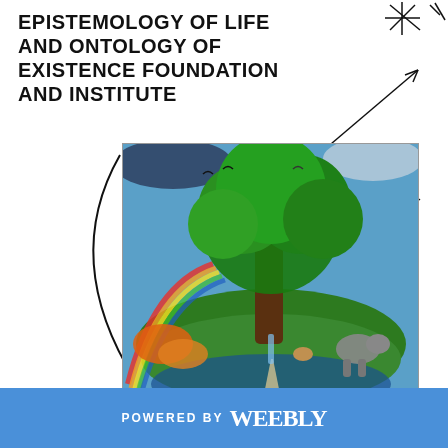EPISTEMOLOGY OF LIFE AND ONTOLOGY OF EXISTENCE FOUNDATION AND INSTITUTE
[Figure (illustration): Colorful illustration of a lush earth/island with a giant tree, animals (elephants, deer, birds), and diverse ecosystems floating in space with vibrant colors]
[Figure (photo): Composite cosmic/space image showing galaxies, nebulae, and colorful cosmic phenomena in purple, blue and red tones]
POWERED BY weebly